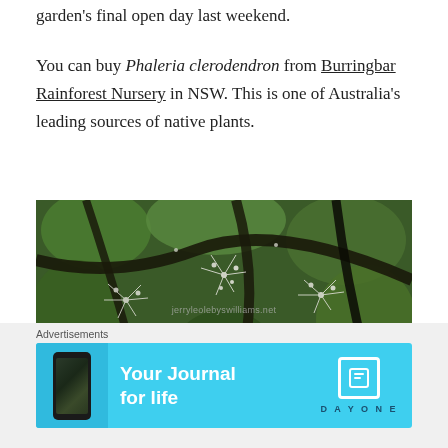garden's final open day last weekend.
You can buy Phaleria clerodendron from Burringbar Rainforest Nursery in NSW. This is one of Australia's leading sources of native plants.
[Figure (photo): Close-up photograph looking up through a tree canopy showing masses of white feathery flowers (Phaleria clerodendron) against dark branches and green foliage. A watermark reads 'jerryleolebyswilliams.net'.]
Advertisements
[Figure (other): Advertisement banner with light blue background showing a smartphone on the left and the text 'Your Journal for life' in bold white, with the DayOne app logo and brand name on the right.]